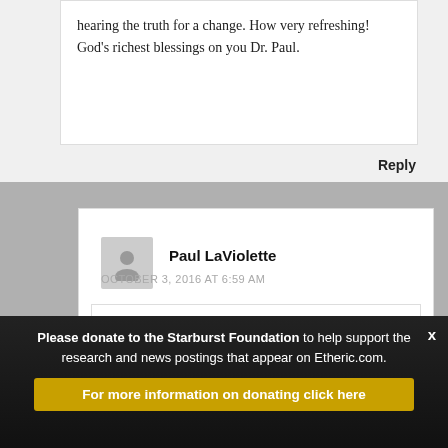hearing the truth for a change. How very refreshing! God’s richest blessings on you Dr. Paul.
Reply
Paul LaViolette
OCTOBER 3, 2016 AT 6:59 AM
I don’t understand your question. What is an LFPT?
Thank you for your appreciation.
Reply
Please donate to the Starburst Foundation to help support the research and news postings that appear on Etheric.com.
For more information on donating click here